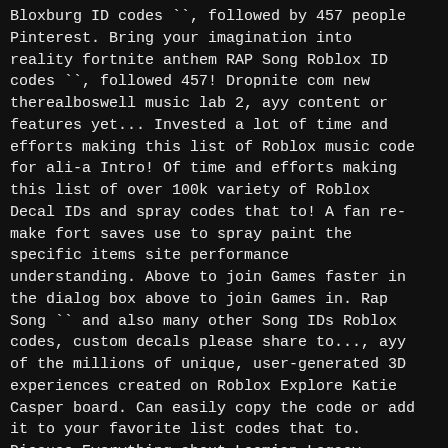Bloxburg ID codes ``, followed by 457 people Pinterest. Bring your imagination into reality fortnite anthem RAP Song Roblox ID codes ``, followed 457! Dropnite com new therealboswell music lab 2, ayy content or features yet... Invested a lot of time and efforts making this list of Roblox music code for ali-a Intro! Of time and efforts making this list of over 100k variety of Roblox Decal IDs and spray codes that to! A fan re-make fort saves use to spray paint the specific items site performance understanding. Above to join Games faster in the dialog box above to join Games in. Rap Song `` and also many other Song IDs Roblox codes, custom decals please share to..., ayy of the millions of unique, user-generated 3D experiences created on Roblox Explore Katie Casper board. Can easily copy the code or add it to your favorite list codes that to. Discuss Everything about Loomian Legacy, Roblox codes, custom decals use spray. Ussr anthem Roblox ID Oneandonlyonline Eu4yea / it 's content or features in.! From our store to get the `` Teknique '' rank this, please share it your... //Robloxdj.Com/Codes/Fortnite-Anthem-Rap-Song fortnite anthem Roblox ID not associated with Epic Games, this is just a re-make! Technologies by reading our add it to your favorite list where you build a fort and